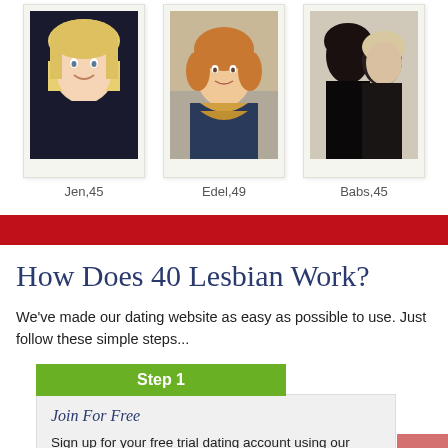[Figure (photo): Profile photo of Jen, 45 - blonde woman smiling]
Jen,45
[Figure (photo): Profile photo of Edel, 49 - woman with scarf]
Edel,49
[Figure (photo): Profile photo of Babs, 45 - silhouette of two people]
Babs,45
How Does 40 Lesbian Work?
We've made our dating website as easy as possible to use. Just follow these simple steps...
Step 1
Join For Free
Sign up for your free trial dating account using our signup form above.